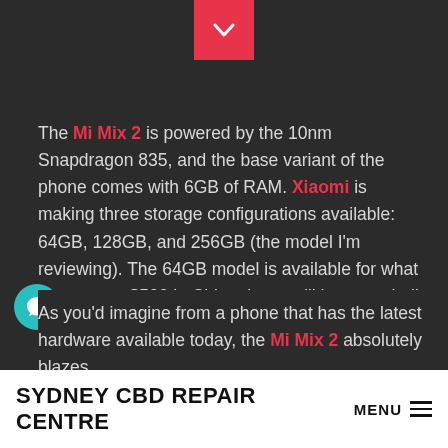[Figure (other): Red dropdown/chevron button at top center of dark header area]
The Mi Mix 2 is powered by the 10nm Snapdragon 835, and the base variant of the phone comes with 6GB of RAM. Xiaomi is making three storage configurations available: 64GB, 128GB, and 256GB (the model I'm reviewing). The 64GB model is available for what amounts to $500 in China, but you'll have to shell out close to $570 to get your hands on a unit from reseller sites.
As you'd imagine from a phone that has the latest hardware available today, the Mi Mix 2 absolutely blazes
SYDNEY CBD REPAIR CENTRE MENU ≡